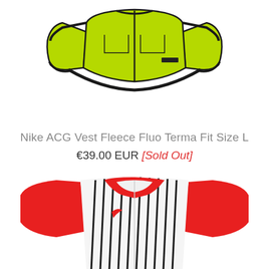[Figure (photo): Nike ACG fluorescent yellow-green vest/fleece with black trim and zipper, shown from the front on white background, upper portion visible]
Nike ACG Vest Fleece Fluo Terma Fit Size L
€39.00 EUR [Sold Out]
[Figure (photo): Nike polo shirt with red sleeves and red collar, white body with vertical black stripes, small Nike swoosh logo on chest, shown from the front on white background]